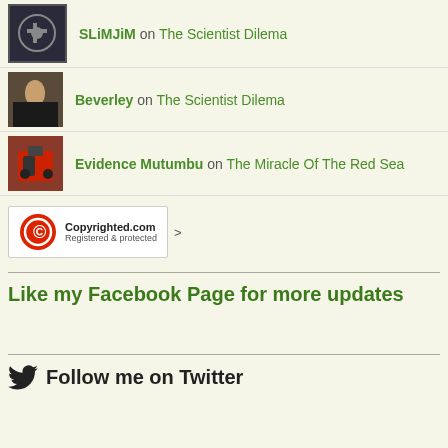SLiMJiM on The Scientist Dilema
Beverley on The Scientist Dilema
Evidence Mutumbu on The Miracle Of The Red Sea
[Figure (logo): Copyrighted.com Registered & protected badge with red copyright symbol]
Like my Facebook Page for more updates
Follow me on Twitter